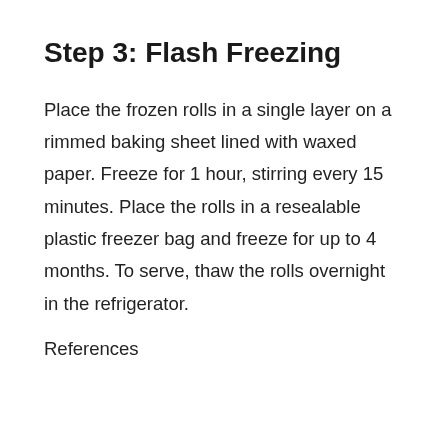Step 3: Flash Freezing
Place the frozen rolls in a single layer on a rimmed baking sheet lined with waxed paper. Freeze for 1 hour, stirring every 15 minutes. Place the rolls in a resealable plastic freezer bag and freeze for up to 4 months. To serve, thaw the rolls overnight in the refrigerator.
References